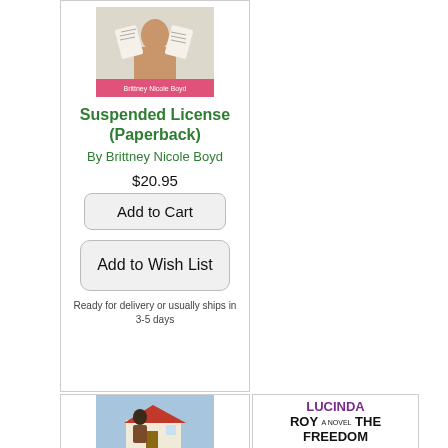[Figure (illustration): Book cover for Suspended License (Paperback) showing a woman holding papers with a pink band at the bottom]
Suspended License (Paperback)
By Brittney Nicole Boyd
$20.95
Add to Cart
Add to Wish List
Ready for delivery or usually ships in 3-5 days
[Figure (illustration): Book cover showing a woman in front of a house with blue background]
[Figure (illustration): Book title text: LUCINDA ROY A NOVEL THE FREEDOM [partial]]